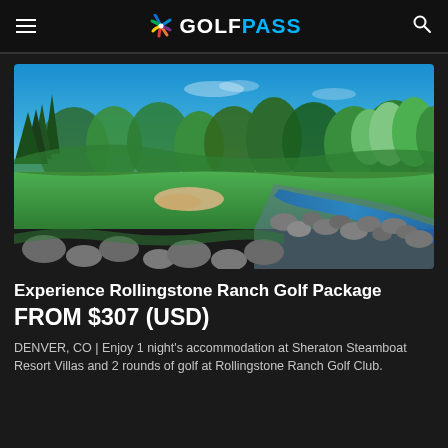GOLF PASS
[Figure (photo): Scenic golf course at Rollingstone Ranch with a rocky stream, lush green fairway, sand bunker, evergreen and deciduous trees under a bright blue sky]
Experience Rollingstone Ranch Golf Package
FROM $307 (USD)
DENVER, CO | Enjoy 1 night's accommodation at Sheraton Steamboat Resort Villas and 2 rounds of golf at Rollingstone Ranch Golf Club.